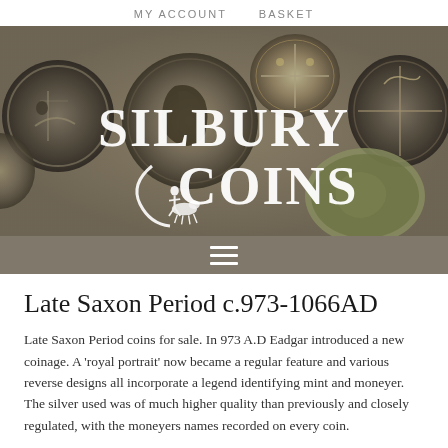MY ACCOUNT   BASKET
[Figure (photo): Silbury Coins website header banner showing a collage of ancient Anglo-Saxon coins with the Silbury Coins logo overlaid in white text on a dark background, with a horseman emblem replacing the 'C' in Coins.]
Late Saxon Period c.973-1066AD
Late Saxon Period coins for sale. In 973 A.D Eadgar introduced a new coinage. A ‘royal portrait’ now became a regular feature and various reverse designs all incorporate a legend identifying mint and moneyer. The silver used was of much higher quality than previously and closely regulated, with the moneyers names recorded on every coin.